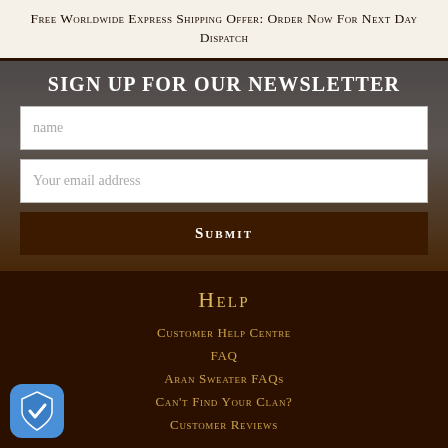Free Worldwide Express Shipping Offer: Order Now For Next Day Dispatch
SIGN UP FOR OUR NEWSLETTER
name
Your email address
SUBMIT
HELP
Customer Help Centre
FAQ
Aran Sweater FAQs
Can't Find Your Clan?
Customer Reviews